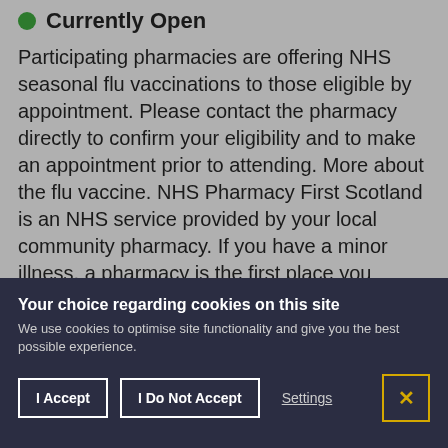Currently Open
Participating pharmacies are offering NHS seasonal flu vaccinations to those eligible by appointment. Please contact the pharmacy directly to confirm your eligibility and to make an appointment prior to attending. More about the flu vaccine. NHS Pharmacy First Scotland is an NHS service provided by your local community pharmacy. If you have a minor illness, a pharmacy is the first place you should go for advice. You do not usually need an appointment and you can go to any pharmacy. Your local pharmacist or a trained member of
Your choice regarding cookies on this site
We use cookies to optimise site functionality and give you the best possible experience.
I Accept
I Do Not Accept
Settings